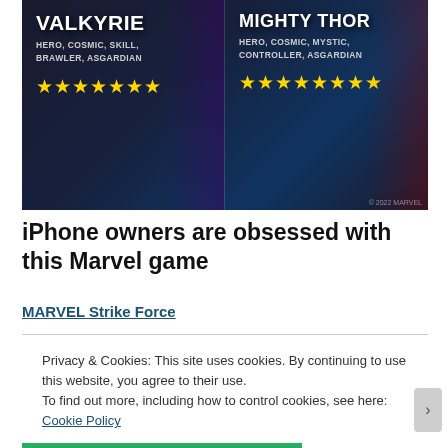[Figure (screenshot): Marvel Strike Force game advertisement showing Valkyrie (Hero, Cosmic, Skill, Brawler, Asgardian) with 7 gold stars and Mighty Thor (Hero, Cosmic, Mystic, Controller, Asgardian) with 7 gold stars on a dark blue/purple background]
iPhone owners are obsessed with this Marvel game
MARVEL Strike Force
[Figure (photo): Photo of a white/grey pitbull dog sitting on grass]
[Photos] Toddler Missing For 2 Days: Man Opens Door, Realizes Pitbull Had Her
Privacy & Cookies: This site uses cookies. By continuing to use this website, you agree to their use.
To find out more, including how to control cookies, see here: Cookie Policy